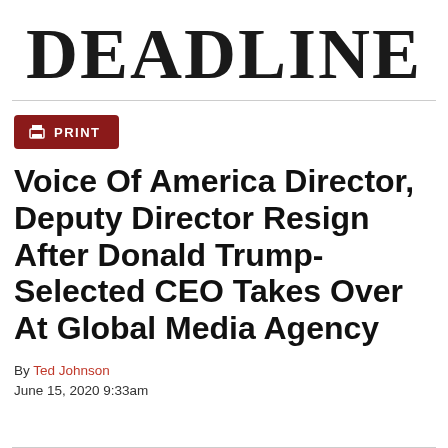DEADLINE
[Figure (other): Dark red print button with printer icon and PRINT label]
Voice Of America Director, Deputy Director Resign After Donald Trump-Selected CEO Takes Over At Global Media Agency
By Ted Johnson
June 15, 2020 9:33am